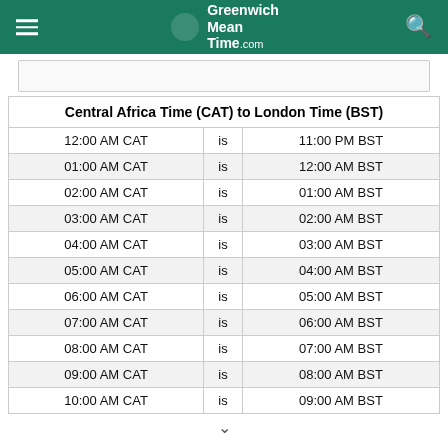Greenwich Mean Time .com
| Central Africa Time (CAT) to London Time (BST) |
| --- |
| 12:00 AM CAT | is | 11:00 PM BST |
| 01:00 AM CAT | is | 12:00 AM BST |
| 02:00 AM CAT | is | 01:00 AM BST |
| 03:00 AM CAT | is | 02:00 AM BST |
| 04:00 AM CAT | is | 03:00 AM BST |
| 05:00 AM CAT | is | 04:00 AM BST |
| 06:00 AM CAT | is | 05:00 AM BST |
| 07:00 AM CAT | is | 06:00 AM BST |
| 08:00 AM CAT | is | 07:00 AM BST |
| 09:00 AM CAT | is | 08:00 AM BST |
| 10:00 AM CAT | is | 09:00 AM BST |